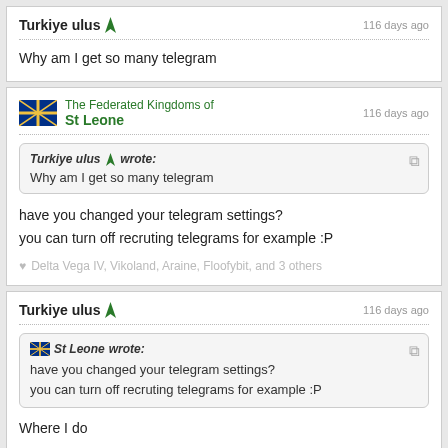Turkiye ulus  116 days ago
Why am I get so many telegram
The Federated Kingdoms of St Leone  116 days ago
Turkiye ulus wrote: Why am I get so many telegram
have you changed your telegram settings?
you can turn off recruting telegrams for example :P
Delta Vega IV, Vikoland, Araine, Floofybit, and 3 others
Turkiye ulus  116 days ago
St Leone wrote: have you changed your telegram settings?
you can turn off recruting telegrams for example :P
Where I do